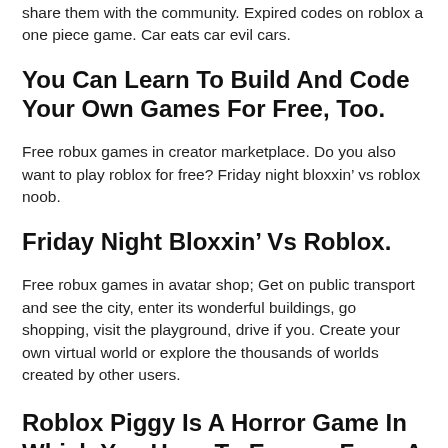share them with the community. Expired codes on roblox a one piece game. Car eats car evil cars.
You Can Learn To Build And Code Your Own Games For Free, Too.
Free robux games in creator marketplace. Do you also want to play roblox for free? Friday night bloxxin’ vs roblox noob.
Friday Night Bloxxin’ Vs Roblox.
Free robux games in avatar shop; Get on public transport and see the city, enter its wonderful buildings, go shopping, visit the playground, drive if you. Create your own virtual world or explore the thousands of worlds created by other users.
Roblox Piggy Is A Horror Game In Which You Have To Escape From A Crazy Maniac Pig Armed With An Axe Who Is Chasing You